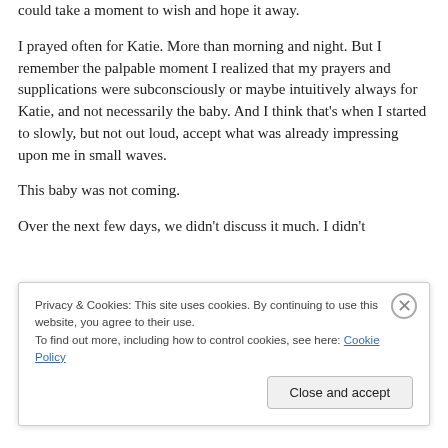could take a moment to wish and hope it away.
I prayed often for Katie. More than morning and night. But I remember the palpable moment I realized that my prayers and supplications were subconsciously or maybe intuitively always for Katie, and not necessarily the baby. And I think that's when I started to slowly, but not out loud, accept what was already impressing upon me in small waves.
This baby was not coming.
Over the next few days, we didn't discuss it much. I didn't
Privacy & Cookies: This site uses cookies. By continuing to use this website, you agree to their use.
To find out more, including how to control cookies, see here: Cookie Policy